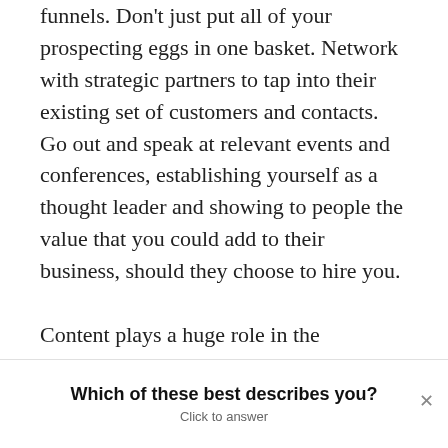funnels. Don't just put all of your prospecting eggs in one basket. Network with strategic partners to tap into their existing set of customers and contacts. Go out and speak at relevant events and conferences, establishing yourself as a thought leader and showing to people the value that you could add to their business, should they choose to hire you.

Content plays a huge role in the prospecting process. I've been speaking a lot recently about the value of hub
Which of these best describes you?
Click to answer